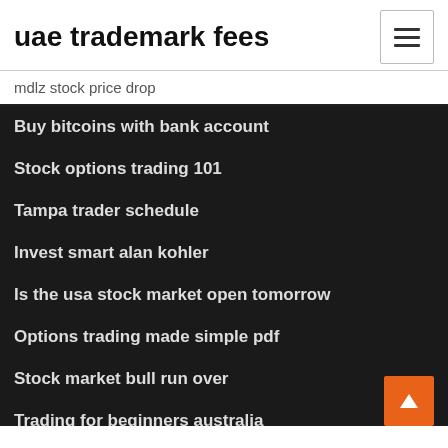uae trademark fees
mdlz stock price drop
Buy bitcoins with bank account
Stock options trading 101
Tampa trader schedule
Invest smart alan kohler
Is the usa stock market open tomorrow
Options trading made simple pdf
Stock market bull run over
Trading for beginners australia
Hdfc forex rates gbp
Wti oil futures trading hours